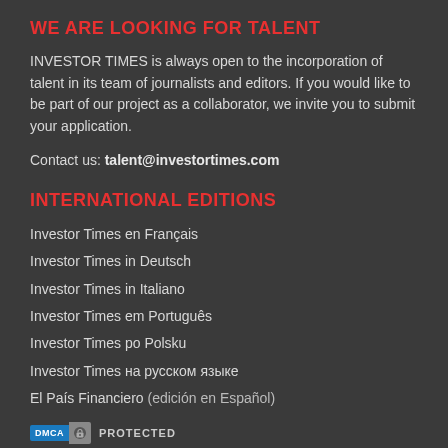WE ARE LOOKING FOR TALENT
INVESTOR TIMES is always open to the incorporation of talent in its team of journalists and editors. If you would like to be part of our project as a collaborator, we invite you to submit your application.
Contact us: talent@investortimes.com
INTERNATIONAL EDITIONS
Investor Times en Français
Investor Times in Deutsch
Investor Times in Italiano
Investor Times em Português
Investor Times po Polsku
Investor Times на русском языке
El País Financiero (edición en Español)
[Figure (logo): DMCA Protected badge with blue DMCA label, lock icon, and PROTECTED text]